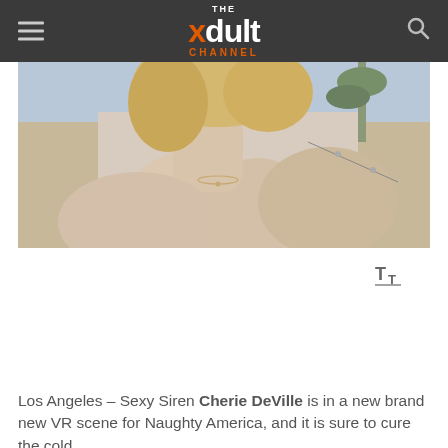THE xdult CHANNEL
[Figure (photo): Partial photo of a woman outdoors with trees and sky in background, cropped at neck/shoulder level]
Los Angeles – Sexy Siren Cherie DeVille is in a new brand new VR scene for Naughty America, and it is sure to cure the cold